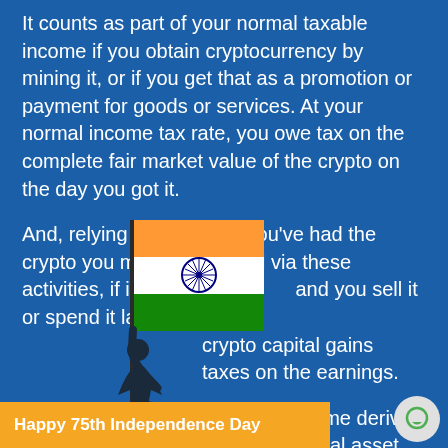It counts as part of your normal taxable income if you obtain cryptocurrency by mining it, or if you get that as a promotion or payment for goods or services. At your normal income tax rate, you owe tax on the complete fair market value of the crypto on the day you got it.
And, relying on how long you've had the crypto you mined or earned via these activities, if its value increases and you sell it or spend it later at a profit, you'll owe crypto capital gains taxes on the earnings.
[Figure (illustration): Indian flag with silhouette of a person holding flag on a pole overlapping the text]
From April 1, all income derived from the transfer of any virtual digital asset will be taxed at 30%. But what about income from previous transfers?
"Every transfer of cryptocurrencies on or before March 31, 2022, gonna be taxable as follows: (in case of trading) and short-term be taxable at relevant rates
Happy 75th Independence Day